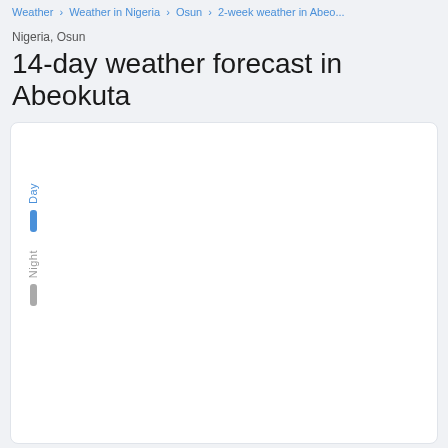Weather > Weather in Nigeria > Osun > 2-week weather in Abeo...
Nigeria, Osun
14-day weather forecast in Abeokuta
[Figure (line-chart): A weather forecast chart for Abeokuta showing Day and Night temperature lines. The chart area is mostly white/empty in the visible portion. Legend on left shows 'Day' label in blue with a blue bar indicator, and 'Night' label in gray with a gray bar indicator.]